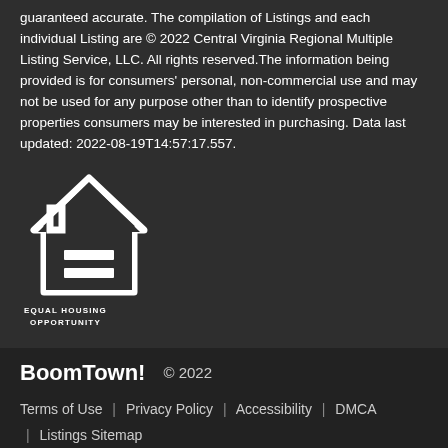guaranteed accurate. The compilation of Listings and each individual Listing are © 2022 Central Virginia Regional Multiple Listing Service, LLC. All rights reserved.The information being provided is for consumers' personal, non-commercial use and may not be used for any purpose other than to identify prospective properties consumers may be interested in purchasing. Data last updated: 2022-08-19T14:57:17.557.
[Figure (logo): Equal Housing Opportunity logo — house outline with equals sign, text reads EQUAL HOUSING OPPORTUNITY]
BoomTown! © 2022 Terms of Use | Privacy Policy | Accessibility | DMCA | Listings Sitemap
Take a Tour
Ask A Question